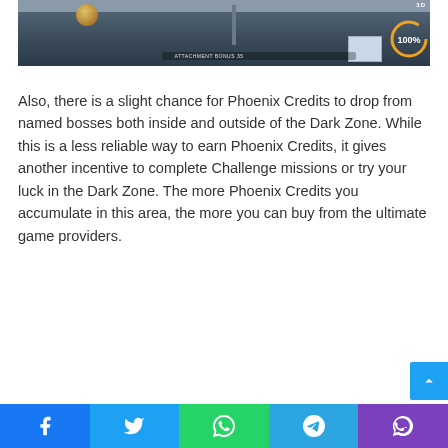[Figure (screenshot): Video game screenshot showing an indoor environment with HUD elements including a '3D' indicator and a circular progress indicator showing '100%' in the top right corner, with a glowing orb on the left side.]
Also, there is a slight chance for Phoenix Credits to drop from named bosses both inside and outside of the Dark Zone. While this is a less reliable way to earn Phoenix Credits, it gives another incentive to complete Challenge missions or try your luck in the Dark Zone. The more Phoenix Credits you accumulate in this area, the more you can buy from the ultimate game providers.